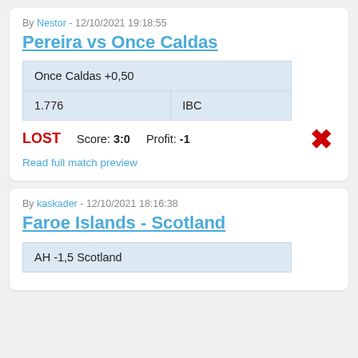By Nestor - 12/10/2021 19:18:55
Pereira vs Once Caldas
| Once Caldas +0,50 |
| 1.776 | IBC |
LOST   Score: 3:0   Profit: -1
Read full match preview
By kaskader - 12/10/2021 18:16:38
Faroe Islands - Scotland
| AH -1,5 Scotland |